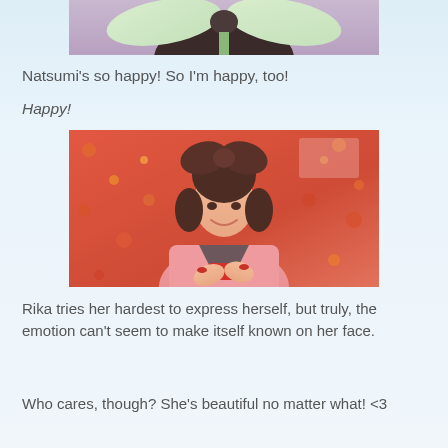[Figure (photo): Top portion of a photo showing light green bow/ribbon decoration against a dark background with pink/purple tones]
Natsumi's so happy! So I'm happy, too!
Happy!
[Figure (photo): A young woman with a large dark bow in her hair, wearing a pink outfit with a dark collar and red accent, smiling and placing hands on her chest. Background is red/orange with colorful floral patterns.]
Rika tries her hardest to express herself, but truly, the emotion can't seem to make itself known on her face.
Who cares, though? She's beautiful no matter what! <3